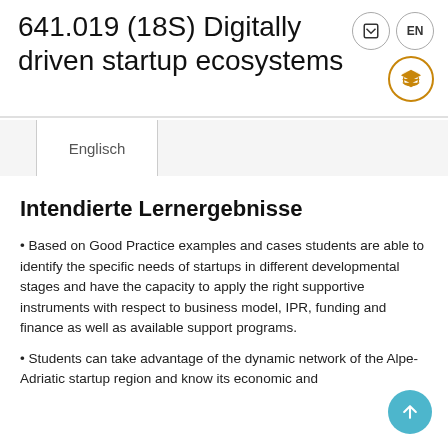641.019 (18S) Digitally driven startup ecosystems
Englisch
Intendierte Lernergebnisse
• Based on Good Practice examples and cases students are able to identify the specific needs of startups in different developmental stages and have the capacity to apply the right supportive instruments with respect to business model, IPR, funding and finance as well as available support programs.
• Students can take advantage of the dynamic network of the Alpe-Adriatic startup region and know its economic and technological framework.